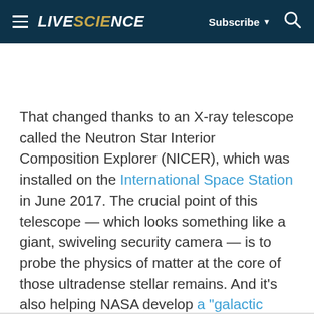LIVESCIENCE | Subscribe | Search
That changed thanks to an X-ray telescope called the Neutron Star Interior Composition Explorer (NICER), which was installed on the International Space Station in June 2017. The crucial point of this telescope — which looks something like a giant, swiveling security camera — is to probe the physics of matter at the core of those ultradense stellar remains. And it's also helping NASA develop a "galactic positioning system" based on neutron-star signals. But to accomplish